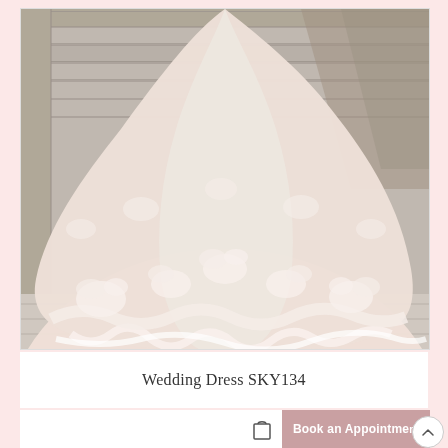[Figure (photo): A wedding dress with a long flowing train decorated with floral lace appliqués, photographed from behind on stone stairs. The dress is blush/champagne colored with white lace embellishments along the hem and train.]
Wedding Dress SKY134
Book an Appointment